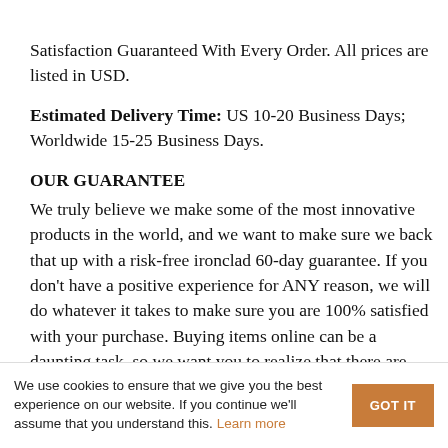Satisfaction Guaranteed With Every Order. All prices are listed in USD.
Estimated Delivery Time: US 10-20 Business Days; Worldwide 15-25 Business Days.
OUR GUARANTEE
We truly believe we make some of the most innovative products in the world, and we want to make sure we back that up with a risk-free ironclad 60-day guarantee. If you don't have a positive experience for ANY reason, we will do whatever it takes to make sure you are 100% satisfied with your purchase. Buying items online can be a daunting task, so we want you to realize that there are absolutely ZERO risks in buying something and trying it out. If you don't like it, no hard feelings we'll make it right. We have 24/7/365 Ticket and Email Support. Please contact us if you need
We use cookies to ensure that we give you the best experience on our website. If you continue we'll assume that you understand this. Learn more